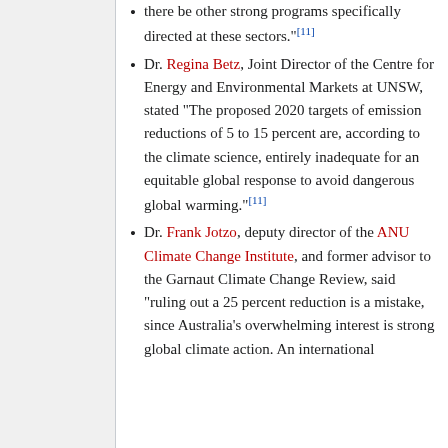there be other strong programs specifically directed at these sectors."[11]
Dr. Regina Betz, Joint Director of the Centre for Energy and Environmental Markets at UNSW, stated "The proposed 2020 targets of emission reductions of 5 to 15 percent are, according to the climate science, entirely inadequate for an equitable global response to avoid dangerous global warming."[11]
Dr. Frank Jotzo, deputy director of the ANU Climate Change Institute, and former advisor to the Garnaut Climate Change Review, said "ruling out a 25 percent reduction is a mistake, since Australia's overwhelming interest is strong global climate action. An international